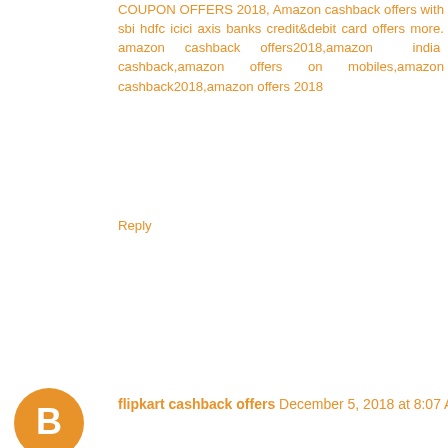COUPON OFFERS 2018, Amazon cashback offers with sbi hdfc icici axis banks credit&debit card offers more. amazon cashback offers2018,amazon india cashback,amazon offers on mobiles,amazon cashback2018,amazon offers 2018
Reply
flipkart cashback offers  December 5, 2018 at 8:07 AM
flipkart axis cashback offer, flipkart discount coupon codes, flipkartcashbackoffers,flipkart sbi cashback offers, flipkart cashback offers on mobiles,big billion day offers flipkart cashback, cashback offers flipkart, flipkart exchange offers on mobiles, flipkart cashback, flipkart cashback june,flipkart cashback offers, flipkart offers toady,flipkart bank cashback offer, flipkart cashback offers on watches, flipkart cashback offers on fashion, flipkart big billion day cashback offers, flipkart cashback may, flipkart big billion day offers 2017, flipkart deal of the day offers, flipkart christmas cashback offers, flipkart hdfc cashback, flipkart hdfc cashback offers.